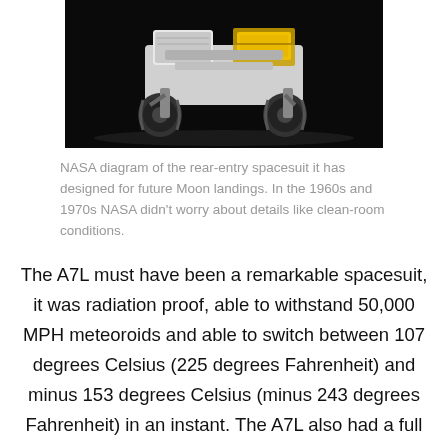[Figure (photo): NASA rover with large wheels on a dark background, viewed from the rear-side angle]
NASA diagram of the rear-entry spacesuit it has designed for future Moon landings. In the 1960s and 1970s NASA didn't worry about details like clean-room conditions.
The A7L must have been a remarkable spacesuit, it was radiation proof, able to withstand 50,000 MPH meteoroids and able to switch between 107 degrees Celsius (225 degrees Fahrenheit) and minus 153 degrees Celsius (minus 243 degrees Fahrenheit) in an instant. The A7L also had a full life-support system, oxygen and human waste management. Unfortunately we can not inspect, or even recreate, these spacesuits as NASA claims it has lost all the designs and